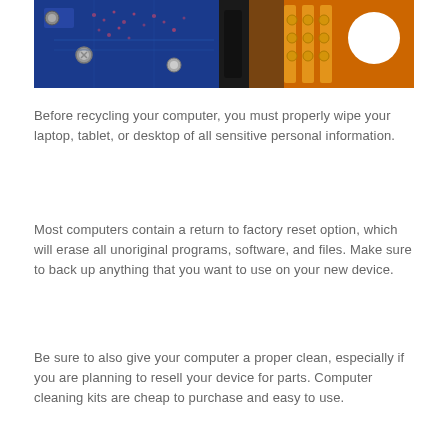[Figure (photo): Close-up photo of computer hard drive components showing blue circuit board with electronic components on the left and orange/gold flexible circuit connector with solder points on the right, dark metallic parts in the center]
Before recycling your computer, you must properly wipe your laptop, tablet, or desktop of all sensitive personal information.
Most computers contain a return to factory reset option, which will erase all unoriginal programs, software, and files. Make sure to back up anything that you want to use on your new device.
Be sure to also give your computer a proper clean, especially if you are planning to resell your device for parts. Computer cleaning kits are cheap to purchase and easy to use.